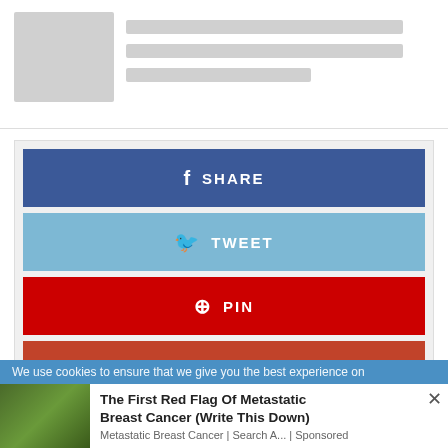[Figure (screenshot): Top card area with placeholder image and gray line placeholders for text]
[Figure (screenshot): Social share buttons: Facebook SHARE (dark blue), Twitter TWEET (light blue), Pinterest PIN (red), Google+ SHARE (dark red/orange)]
We use cookies to ensure that we give you the best experience on
[Figure (photo): Ad card with photo of woman in red shirt outdoors]
The First Red Flag Of Metastatic Breast Cancer (Write This Down)
Metastatic Breast Cancer | Search A... | Sponsored